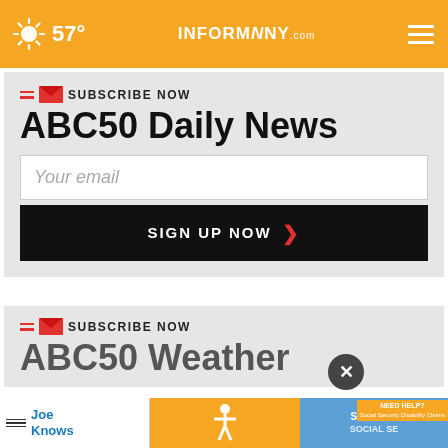57° INFORMNNY.com
SUBSCRIBE NOW
ABC50 Daily News
Your email
SIGN UP NOW
SUBSCRIBE NOW
ABC50 Weather
[Figure (screenshot): Advertisement banners at bottom: Joe Knows, accessibility icon (orange), Social Security card image with Need Help? badge]